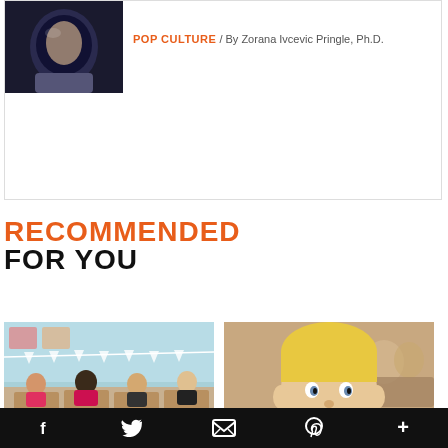[Figure (photo): Child in astronaut helmet against dark background]
POP CULTURE / By Zorana Ivcevic Pringle, Ph.D.
RECOMMENDED FOR YOU
[Figure (photo): Children sitting at desks in a classroom with blue walls and decorations]
[Figure (photo): Blond child in classroom holding a pencil in his mouth, looking at camera]
Smart Learning
What Kills Creativity in
f  Twitter  Email  Pinterest  +